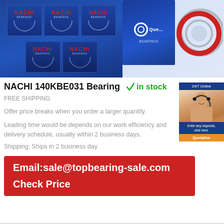[Figure (photo): Product images: Nachi bearing boxes stacked on left, Nachi bearing ring product on right with blue branding box]
NACHI 140KBE031 Bearing
in stock
FREE SHIPPING
Offer price breaks when you order a larger quantify.
Leading time would be depends on our work efficiency and delivery schedule, usually within 2 business days.
Shipping: Ships in 2 business day
[Figure (photo): 24/7 Online customer service representative sidebar with quotation button]
Email:sale@topbearing-sale.com
Check Price